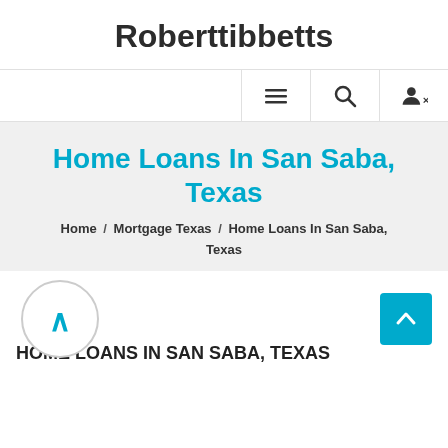Roberttibbetts
Home Loans In San Saba, Texas
Home / Mortgage Texas / Home Loans In San Saba, Texas
[Figure (logo): Circular logo with caret/lambda symbol in cyan]
HOME LOANS IN SAN SABA, TEXAS